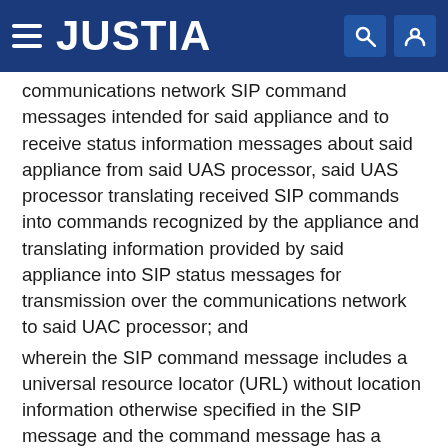JUSTIA
communications network SIP command messages intended for said appliance and to receive status information messages about said appliance from said UAS processor, said UAS processor translating received SIP commands into commands recognized by the appliance and translating information provided by said appliance into SIP status messages for transmission over the communications network to said UAC processor; and
wherein the SIP command message includes a universal resource locator (URL) without location information otherwise specified in the SIP message and the command message has a generalized payload body with at least one of control and query instructions specific to appliances.